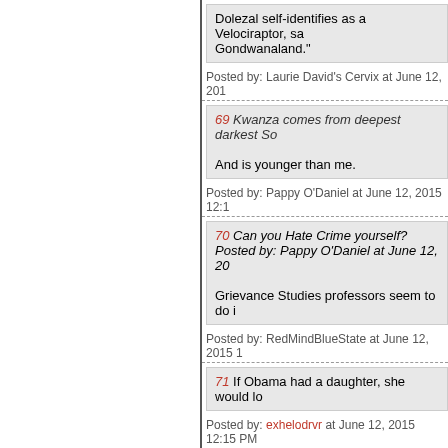Dolezal self-identifies as a Velociraptor, sa Gondwanaland."
Posted by: Laurie David's Cervix at June 12, 201
69 Kwanza comes from deepest darkest So

And is younger than me.
Posted by: Pappy O'Daniel at June 12, 2015 12:1
70 Can you Hate Crime yourself?
Posted by: Pappy O'Daniel at June 12, 20

Grievance Studies professors seem to do i
Posted by: RedMindBlueState at June 12, 2015 1
71 If Obama had a daughter, she would lo
Posted by: exhelodrvr at June 12, 2015 12:15 PM